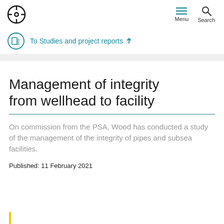Menu Search
To Studies and project reports ↑
Management of integrity from wellhead to facility
On commission from the PSA, Wood has conducted a study of the management of the integrity of pipes and subsea facilities.
Published: 11 February 2021